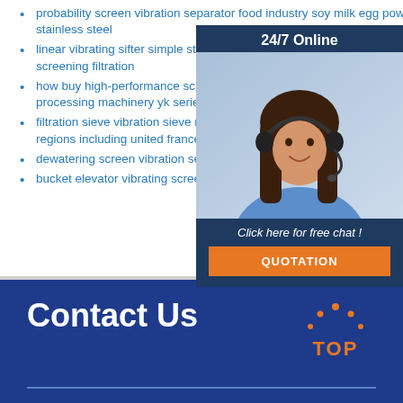probability screen vibration separator food industry soy milk egg powder stainless steel
linear vibrating sifter simple structure easy maintain single layer screening filtration
how buy high-performance screening equipment vibrating screen processing machinery yk series vibrating
filtration sieve vibration sieve machine glass bead exported 68 countries regions including united france canada etc
dewatering screen vibration separator szf-102 2500mm easy use
bucket elevator vibrating screen high screening good structural rigidity
[Figure (infographic): 24/7 online chat widget with photo of female customer service agent wearing headset, dark navy background, 'Click here for free chat!' text, and orange QUOTATION button]
Contact Us